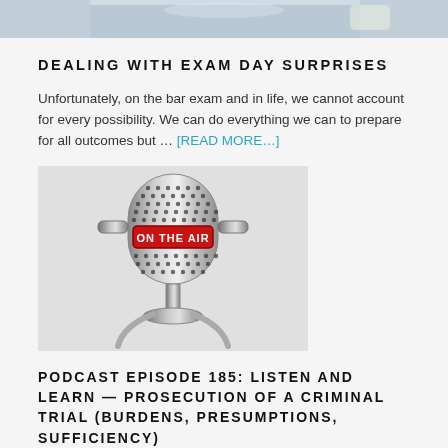[Figure (photo): Top portion of a photo showing a person at a desk with a laptop and coffee cup, cropped at top of page]
DEALING WITH EXAM DAY SURPRISES
Unfortunately, on the bar exam and in life, we cannot account for every possibility. We can do everything we can to prepare for all outcomes but … [READ MORE…]
[Figure (illustration): Illustration of a vintage silver microphone with a red 'ON THE AIR' badge/button in the center]
PODCAST EPISODE 185: LISTEN AND LEARN — PROSECUTION OF A CRIMINAL TRIAL (BURDENS, PRESUMPTIONS, SUFFICIENCY)